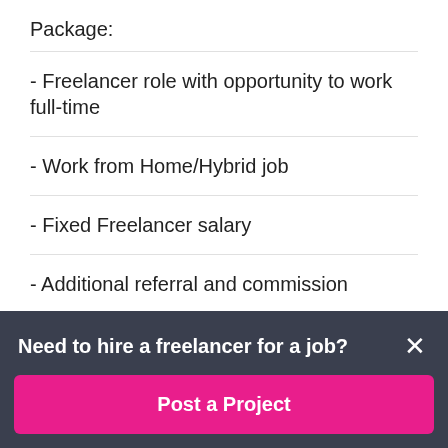Package:
- Freelancer role with opportunity to work full-time
- Work from Home/Hybrid job
- Fixed Freelancer salary
- Additional referral and commission
- Flexible working hours
- Opportunity to work with a global team with diversity
Need to hire a freelancer for a job?
Post a Project